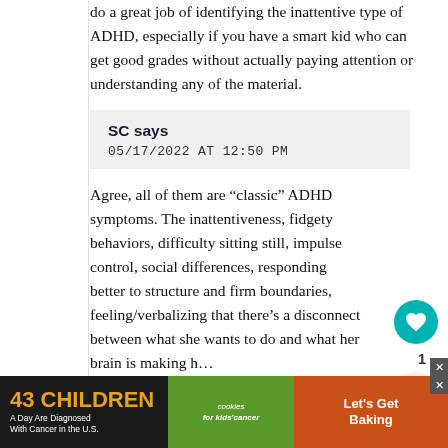do a great job of identifying the inattentive type of ADHD, especially if you have a smart kid who can get good grades without actually paying attention or understanding any of the material.
SC says
05/17/2022 AT 12:50 PM
Agree, all of them are “classic” ADHD symptoms. The inattentiveness, fidgety behaviors, difficulty sitting still, impulse control, social differences, responding better to structure and firm boundaries, feeling/verbalizing that there’s a disconnect between what she wants to do and what her brain is making h…
A lot of people describe the social behaviors as social immaturity, as though
[Figure (screenshot): Ad banner: '43 CHILDREN A Day Are Diagnosed With Cancer in the U.S.' with cookies for kids' cancer logo and 'Let's Get Baking' section]